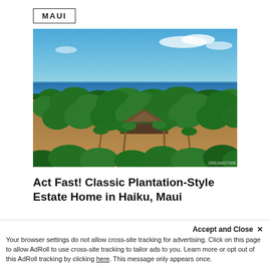MAUI
[Figure (photo): Aerial drone photograph of a classic plantation-style estate home surrounded by palm trees and tropical vegetation, with the ocean and blue sky visible in the background. The home has a brown/grey hip roof visible among the lush green canopy.]
Act Fast! Classic Plantation-Style Estate Home in Haiku, Maui
This absolutely classic plantation-style...
Accept and Close ✕
Your browser settings do not allow cross-site tracking for advertising. Click on this page to allow AdRoll to use cross-site tracking to tailor ads to you. Learn more or opt out of this AdRoll tracking by clicking here. This message only appears once.